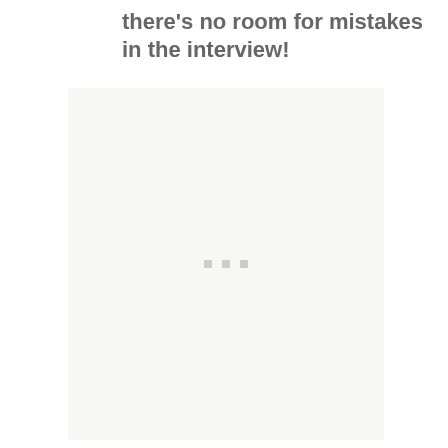there’s no room for mistakes in the interview!
[Figure (other): A light gray placeholder image area with three small gray dots centered in the middle, indicating an image loading or placeholder state.]